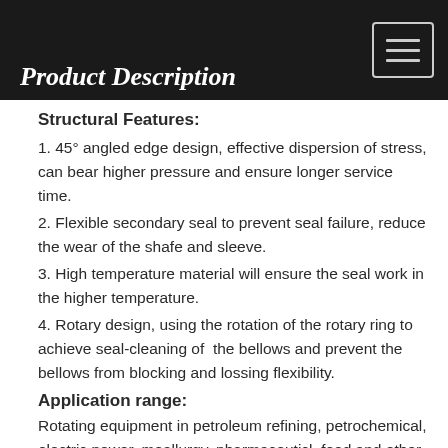Product Description
Structural Features:
1. 45° angled edge design, effective dispersion of stress, can bear higher pressure and ensure longer service time.
2. Flexible secondary seal to prevent seal failure, reduce the wear of the shafe and sleeve.
3. High temperature material will ensure the seal work in the higher temperature.
4. Rotary design, using the rotation of the rotary ring to achieve seal-cleaning of  the bellows and prevent the bellows from blocking and lossing flexibility.
Application range:
Rotating equipment in petroleum refining, petrochemical, electric power, meallurgy, pharmaceuticl, food and other industries. Mainly used in medium and low viscosity medium with high temperature and cleanness or containing a large amount of particles, such as acid, alkali, light oil and some